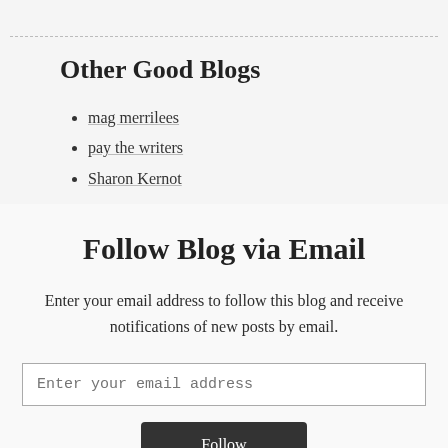Other Good Blogs
mag merrilees
pay the writers
Sharon Kernot
Follow Blog via Email
Enter your email address to follow this blog and receive notifications of new posts by email.
Enter your email address